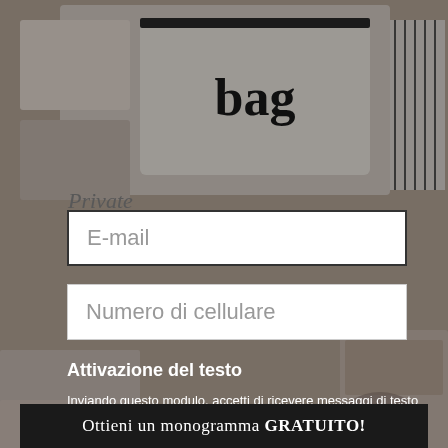[Figure (screenshot): Background collage of fashion accessories and bags including a cream canvas bag with the word 'bag' printed on it in bold, various accessories and packaging arranged in a flat-lay style]
E-mail
Numero di cellulare
Attivazione del testo
Inviando questo modulo, accetti di ricevere messaggi di testo promozionali automatici e di marketing personalizzati ricorrenti (ad es. promemoria carrello) da Bag-all Europe al numero di cellulare utilizzato al momento della registrazione. Il consenso non è condizione di alcun acquisto. Rispondi HELP per chiedere aiuto e STOP per annullare. La frequenza dei messaggi varia. Potrebbero essere applicate tariffe Msg e dati. Visualizza Termini e Privacy
Ottieni un monogramma GRATUITO!